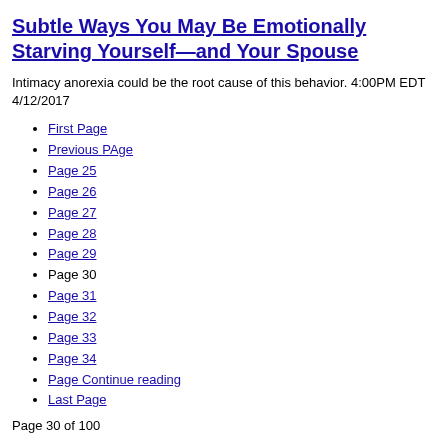Subtle Ways You May Be Emotionally Starving Yourself—and Your Spouse
Intimacy anorexia could be the root cause of this behavior. 4:00PM EDT 4/12/2017
First Page
Previous PAge
Page 25
Page 26
Page 27
Page 28
Page 29
Page 30
Page 31
Page 32
Page 33
Page 34
Page Continue reading
Last Page
Page 30 of 100